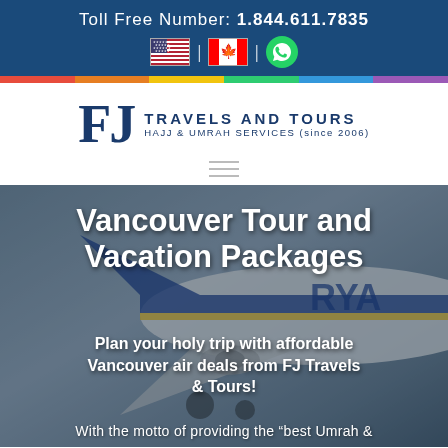Toll Free Number: 1.844.611.7835
[Figure (logo): FJ Travels and Tours logo with flag icons and WhatsApp icon]
Vancouver Tour and Vacation Packages
Plan your holy trip with affordable Vancouver air deals from FJ Travels & Tours!
With the motto of providing the "best Umrah &